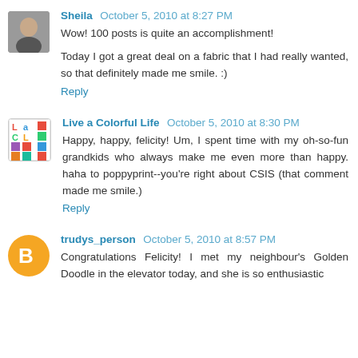Sheila  October 5, 2010 at 8:27 PM
Wow! 100 posts is quite an accomplishment!
Today I got a great deal on a fabric that I had really wanted, so that definitely made me smile. :)
Reply
Live a Colorful Life  October 5, 2010 at 8:30 PM
Happy, happy, felicity! Um, I spent time with my oh-so-fun grandkids who always make me even more than happy. haha to poppyprint--you're right about CSIS (that comment made me smile.)
Reply
trudys_person  October 5, 2010 at 8:57 PM
Congratulations Felicity! I met my neighbour's Golden Doodle in the elevator today, and she is so enthusiastic